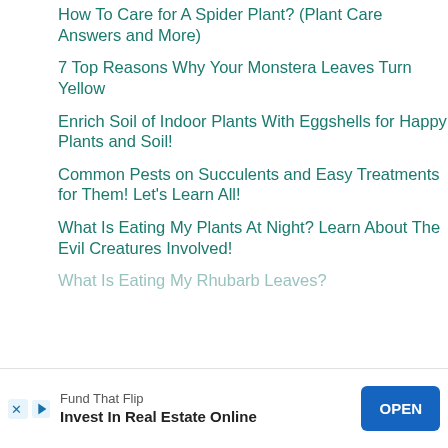How To Care for A Spider Plant? (Plant Care Answers and More)
7 Top Reasons Why Your Monstera Leaves Turn Yellow
Enrich Soil of Indoor Plants With Eggshells for Happy Plants and Soil!
Common Pests on Succulents and Easy Treatments for Them! Let's Learn All!
What Is Eating My Plants At Night? Learn About The Evil Creatures Involved!
What Is Eating My Rhubarb Leaves?
[Figure (other): Advertisement banner: Fund That Flip - Invest In Real Estate Online with OPEN button]